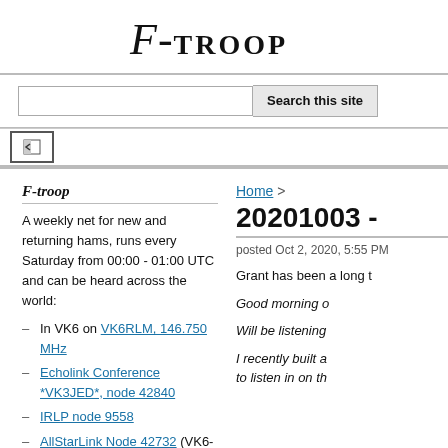F-TROOP
[Figure (screenshot): Search bar with text input and 'Search this site' button]
[Figure (screenshot): Navigation bar with back arrow icon]
F-troop
A weekly net for new and returning hams, runs every Saturday from 00:00 - 01:00 UTC and can be heard across the world:
In VK6 on VK6RLM, 146.750 MHz
Echolink Conference *VK3JED*, node 42840
IRLP node 9558
AllStarLink Node 42732 (VK6-HUB)
AllStarLink Node
Home >
20201003 -
posted Oct 2, 2020, 5:55 PM
Grant has been a long t
Good morning o
Will be listening
I recently built a to listen in on th